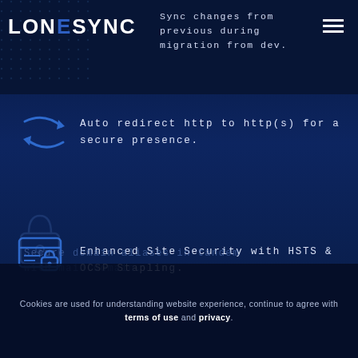LONESYNC
Sync changes from previous during migration from dev.
[Figure (illustration): Shuffle/sync arrows icon, two curved arrows forming a loop, outlined in blue on dark navy background]
Auto redirect http to http(s) for a secure presence.
[Figure (illustration): Credit card with padlock icon, outlined in blue on dark navy background]
Enhanced Site Security with HSTS & OCSP Stapling.
[Figure (illustration): Padlock with location pin icon, ghost/transparent on dark navy background]
Secure domain aliases in tandem with main domain.
Cookies are used for understanding website experience, continue to agree with terms of use and privacy.